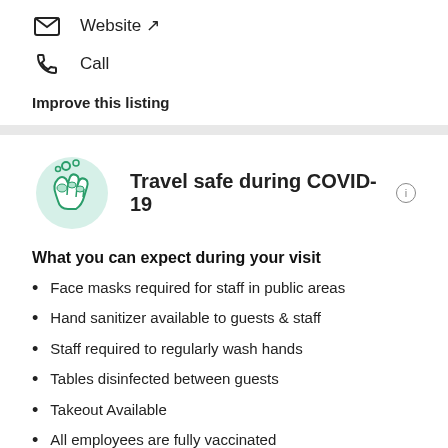Website ↗
Call
Improve this listing
[Figure (illustration): Green hand-washing / hand sanitizer illustration icon with bubbles]
Travel safe during COVID-19 ℹ
What you can expect during your visit
Face masks required for staff in public areas
Hand sanitizer available to guests & staff
Staff required to regularly wash hands
Tables disinfected between guests
Takeout Available
All employees are fully vaccinated
Updated 11/16/21 Safety precautions are provided by the property and